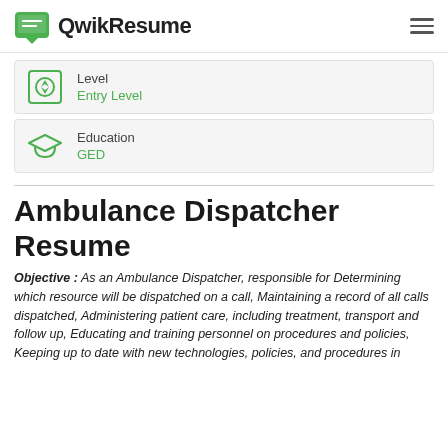QwikResume
Level
Entry Level
Education
GED
Ambulance Dispatcher Resume
Objective : As an Ambulance Dispatcher, responsible for Determining which resource will be dispatched on a call, Maintaining a record of all calls dispatched, Administering patient care, including treatment, transport and follow up, Educating and training personnel on procedures and policies, Keeping up to date with new technologies, policies, and procedures in